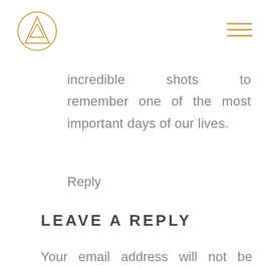[Figure (logo): Circular logo with a triangle/mountain shape inside, gold/amber colored lines on white background]
incredible shots to remember one of the most important days of our lives.
Reply
LEAVE A REPLY
Your email address will not be published. Required fields